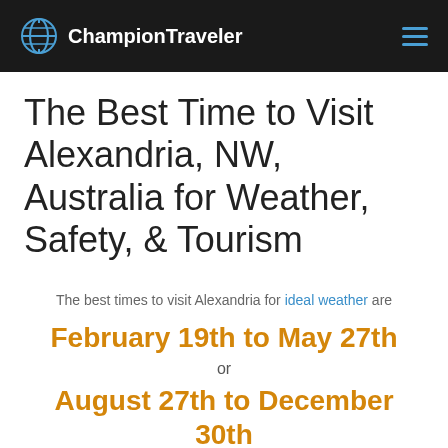ChampionTraveler
The Best Time to Visit Alexandria, NW, Australia for Weather, Safety, & Tourism
The best times to visit Alexandria for ideal weather are
February 19th to May 27th
or
August 27th to December 30th